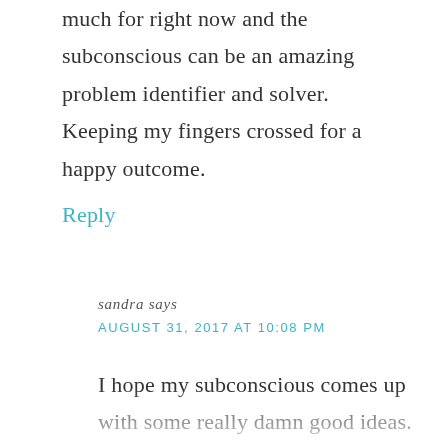much for right now and the subconscious can be an amazing problem identifier and solver. Keeping my fingers crossed for a happy outcome.
Reply
sandra says
AUGUST 31, 2017 AT 10:08 PM
I hope my subconscious comes up with some really damn good ideas.